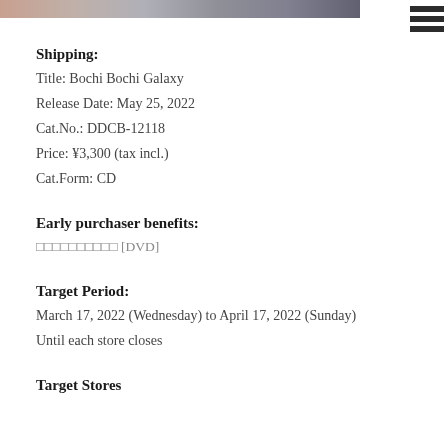[Figure (photo): Top banner image showing partial view of characters or artwork]
Shipping:
Title: Bochi Bochi Galaxy
Release Date: May 25, 2022
Cat.No.: DDCB-12118
Price: ¥3,300 (tax incl.)
Cat.Form: CD
Early purchaser benefits:
□□□□□□□□□□ [DVD]
Target Period:
March 17, 2022 (Wednesday) to April 17, 2022 (Sunday)
Until each store closes
Target Stores